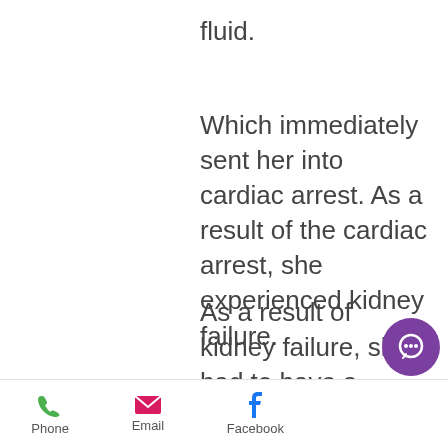fluid.
Which immediately sent her into cardiac arrest. As a result of the cardiac arrest, she experienced kidney failure.
As a result of kidney failure, she had to have a complete blood transfusion. 19-hours later, she was pronounced dead.
A woman [partially obscured] options [partially obscured]
[Figure (screenshot): Chat popup with avatar photo of a woman, text reading 'Welcome! How may we serve you today?!' and a close button]
To add insult to injury, her husband was
Phone  Email  Facebook